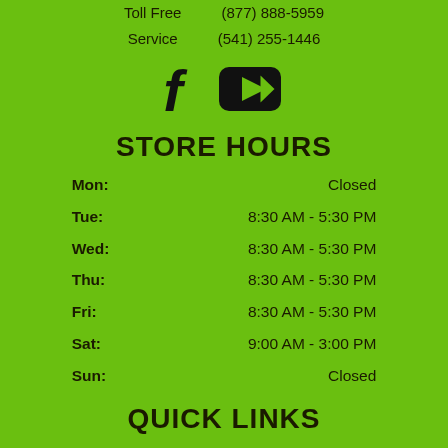Toll Free (877) 888-5959
Service (541) 255-1446
[Figure (illustration): Facebook and YouTube social media icons]
STORE HOURS
Mon: Closed
Tue: 8:30 AM - 5:30 PM
Wed: 8:30 AM - 5:30 PM
Thu: 8:30 AM - 5:30 PM
Fri: 8:30 AM - 5:30 PM
Sat: 9:00 AM - 3:00 PM
Sun: Closed
QUICK LINKS
Manufacturer Models
New Inventory
Pre-Owned Inventory
Service Department